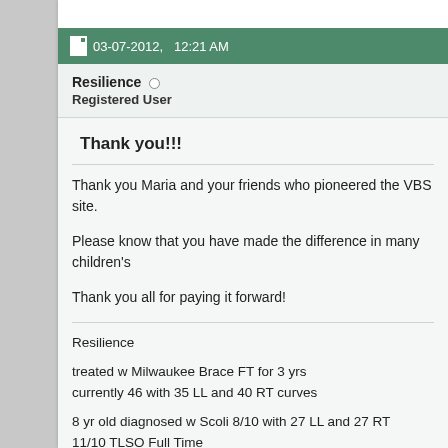03-07-2012,   12:21 AM
Resilience
Registered User
Thank you!!!
Thank you Maria and your friends who pioneered the VBS site.

Please know that you have made the difference in many children's

Thank you all for paying it forward!
Resilience

treated w Milwaukee Brace FT for 3 yrs
currently 46 with 35 LL and 40 RT curves

8 yr old diagnosed w Scoli 8/10 with 27 LL and 27 RT
11/10 TLSO Full Time
4/11 22 LL and 24 RT on waiting list for VBS at Shriners Phila
12/11 curves still in the 20s but now has some rib cage changes fr
VBS 4/25/12 with Dr. Samdani. Pre Op: 29 RT and 25 LL Post Op:
10/13: 15 RT and 10 LL